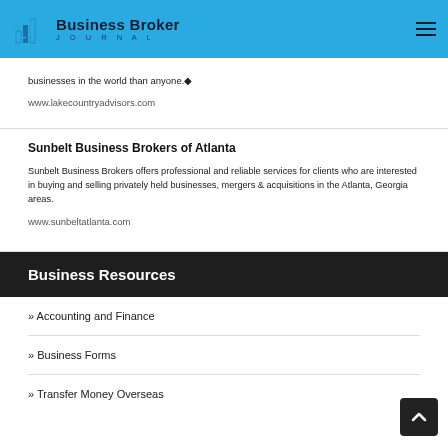Business Broker JOURNAL
businesses in the world than anyone.◆
www.lakecountryadvisors.com
Sunbelt Business Brokers of Atlanta
Sunbelt Business Brokers offers professional and reliable services for clients who are interested in buying and selling privately held businesses, mergers & acquisitions in the Atlanta, Georgia areas.
www.sunbeltatlanta.com
Business Resources
» Accounting and Finance
» Business Forms
» Transfer Money Overseas